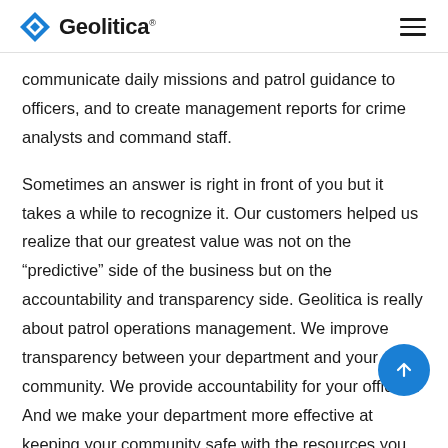Geolitica
communicate daily missions and patrol guidance to officers, and to create management reports for crime analysts and command staff.
Sometimes an answer is right in front of you but it takes a while to recognize it. Our customers helped us realize that our greatest value was not on the “predictive” side of the business but on the accountability and transparency side. Geolitica is really about patrol operations management. We improve transparency between your department and your community. We provide accountability for your officers. And we make your department more effective at keeping your community safe with the resources you have.